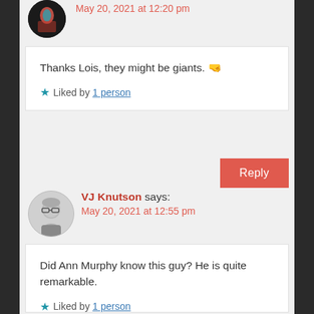May 20, 2021 at 12:20 pm
Thanks Lois, they might be giants. 🤜
★ Liked by 1 person
Reply
VJ Knutson says: May 20, 2021 at 12:55 pm
Did Ann Murphy know this guy? He is quite remarkable.
★ Liked by 1 person